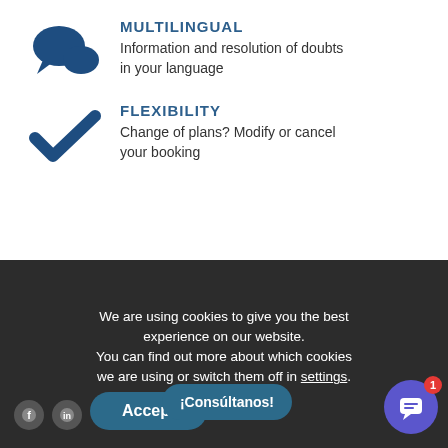[Figure (illustration): Blue chat bubble icon for Multilingual feature]
MULTILINGUAL
Information and resolution of doubts in your language
[Figure (illustration): Blue checkmark icon for Flexibility feature]
FLEXIBILITY
Change of plans? Modify or cancel your booking
We are using cookies to give you the best experience on our website. You can find out more about which cookies we are using or switch them off in settings.